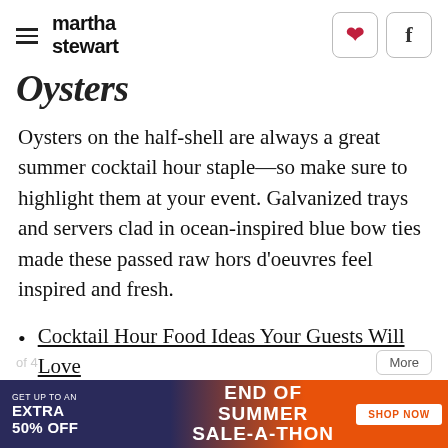martha stewart
Oysters
Oysters on the half-shell are always a great summer cocktail hour staple—so make sure to highlight them at your event. Galvanized trays and servers clad in ocean-inspired blue bow ties made these passed raw hors d'oeuvres feel inspired and fresh.
Cocktail Hour Food Ideas Your Guests Will Love
[Figure (screenshot): Advertisement banner: GET UP TO AN EXTRA 50% OFF | END OF SUMMER SALE-A-THON | SHOP NOW button on orange background]